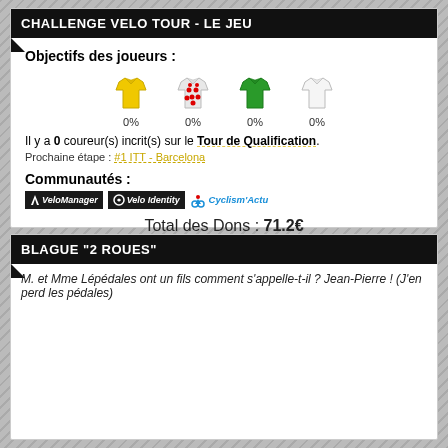CHALLENGE VELO TOUR - LE JEU
Objectifs des joueurs :
[Figure (illustration): Four cycling jerseys: yellow, red polka dot, green, white, each with 0% below]
Il y a 0 coureur(s) incrit(s) sur le Tour de Qualification.
Prochaine étape : #1 ITT - Barcelona
Communautés :
[Figure (logo): VeloManager, Velo Identity, and Cyclism'Actu logos]
Total des Dons : 71.2€
BLAGUE "2 ROUES"
M. et Mme Lépédales ont un fils comment s'appelle-t-il ? Jean-Pierre ! (J'en perd les pédales)